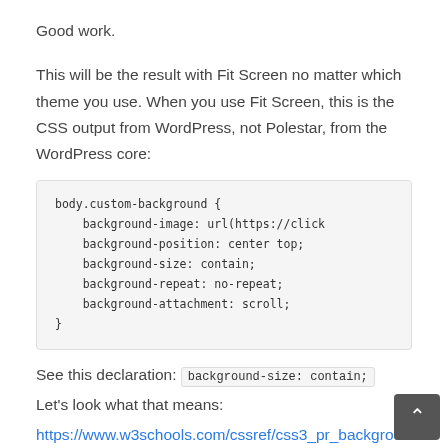Good work.
This will be the result with Fit Screen no matter which theme you use. When you use Fit Screen, this is the CSS output from WordPress, not Polestar, from the WordPress core:
body.custom-background {
    background-image: url(https://click
    background-position: center top;
    background-size: contain;
    background-repeat: no-repeat;
    background-attachment: scroll;
}
See this declaration: background-size: contain;
Let's look what that means:
https://www.w3schools.com/cssref/css3_pr_background-size.asp.